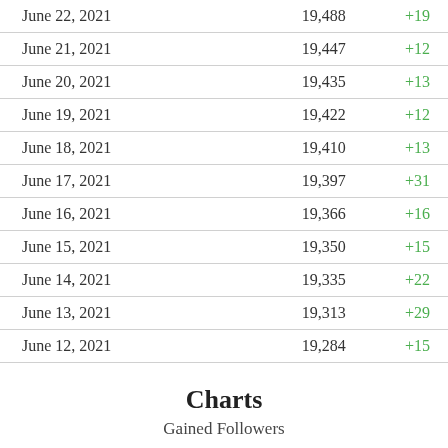| Date | Count | Change |
| --- | --- | --- |
| June 22, 2021 | 19,488 | +19 |
| June 21, 2021 | 19,447 | +12 |
| June 20, 2021 | 19,435 | +13 |
| June 19, 2021 | 19,422 | +12 |
| June 18, 2021 | 19,410 | +13 |
| June 17, 2021 | 19,397 | +31 |
| June 16, 2021 | 19,366 | +16 |
| June 15, 2021 | 19,350 | +15 |
| June 14, 2021 | 19,335 | +22 |
| June 13, 2021 | 19,313 | +29 |
| June 12, 2021 | 19,284 | +15 |
Charts
Gained Followers